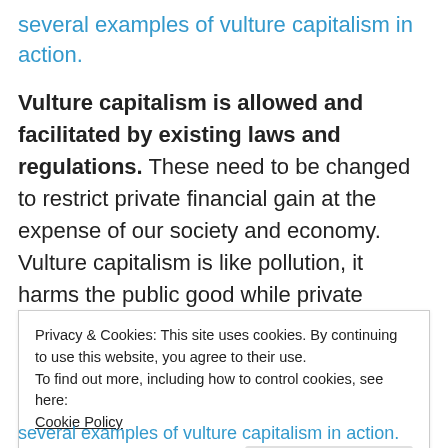several examples of vulture capitalism in action.
Vulture capitalism is allowed and facilitated by existing laws and regulations. These need to be changed to restrict private financial gain at the expense of our society and economy. Vulture capitalism is like pollution, it harms the public good while private interests benefit.
Here are some steps that should be taken to rein in vulture capitalism:
Privacy & Cookies: This site uses cookies. By continuing to use this website, you agree to their use.
To find out more, including how to control cookies, see here:
Cookie Policy
Close and accept
several examples of vulture capitalism in action.